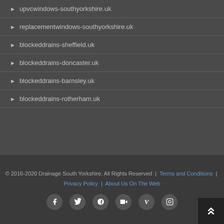upvcwindows-southyorkshire.uk
replacementwindows-southyorkshire.uk
blockeddrains-sheffield.uk
blockeddrains-doncaster.uk
blockeddrains-barnsley.uk
blockeddrains-rotherham.uk
© 2016-2020 Drainage South Yorkshire. All Rights Reserved | Terms and Conditions | Privacy Policy | About Us On The Web